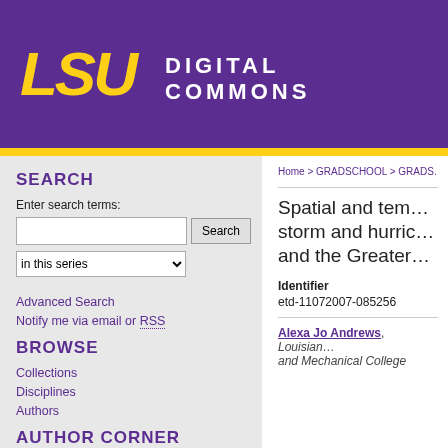[Figure (logo): LSU Digital Commons header logo with purple background, gold LSU text and white DIGITAL COMMONS text]
SEARCH
Enter search terms:
in this series (dropdown)
Advanced Search
Notify me via email or RSS
BROWSE
Collections
Disciplines
Authors
AUTHOR CORNER
Home > GRADSCHOOL > GRADS
Spatial and tem… storm and hurric… and the Greater…
Identifier
etd-11072007-085256
Alexa Jo Andrews, Louisian… and Mechanical College